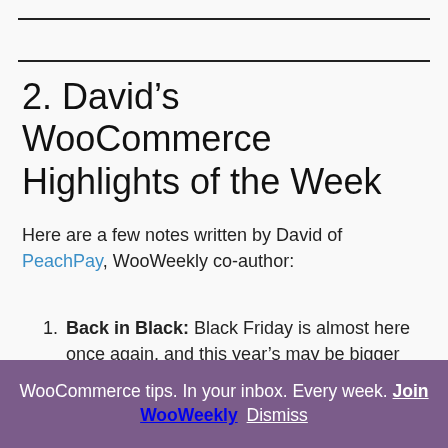2. David’s WooCommerce Highlights of the Week
Here are a few notes written by David of PeachPay, WooWeekly co-author:
Back in Black: Black Friday is almost here once again, and this year’s may be bigger than ever. Make sure your store is ready for the hordes of website visitors that will inevitably follow.
WooCommerce tips. In your inbox. Every week. Join WooWeekly Dismiss